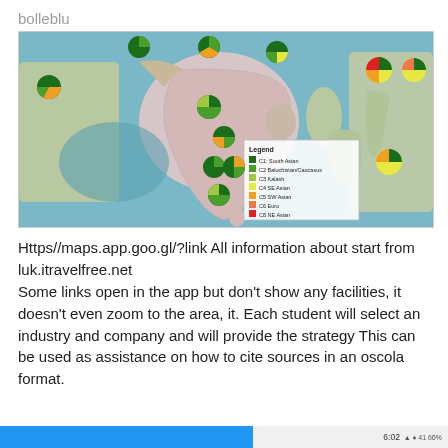bolleblu
[Figure (map): A map of South and Southeast Asia showing pie charts at various locations representing genetic cluster proportions. Legend shows: C1 South Asian (dark green), C2 Balochistan/Caucasus (medium green), C3 Kalash (light green), C4 SE Asian (yellow), C5 SW Asian (orange), C6 Euro (light orange/salmon), C8 NE Asian (red).]
Https//maps.app.goo.gl/?link All information about start from luk.itravelfree.net
Some links open in the app but don't show any facilities, it doesn't even zoom to the area, it. Each student will select an industry and company and will provide the strategy This can be used as assistance on how to cite sources in an oscola format.